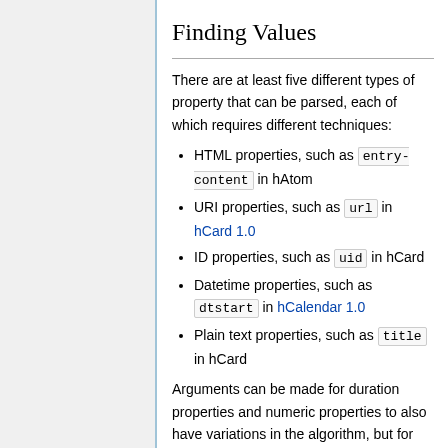Finding Values
There are at least five different types of property that can be parsed, each of which requires different techniques:
HTML properties, such as entry-content in hAtom
URI properties, such as url in hCard 1.0
ID properties, such as uid in hCard
Datetime properties, such as dtstart in hCalendar 1.0
Plain text properties, such as title in hCard
Arguments can be made for duration properties and numeric properties to also have variations in the algorithm, but for now, we'll just treat them as plain text properties.